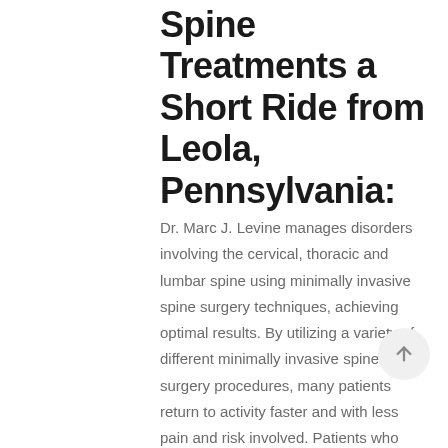Spine Treatments a Short Ride from Leola, Pennsylvania:
Dr. Marc J. Levine manages disorders involving the cervical, thoracic and lumbar spine using minimally invasive spine surgery techniques, achieving optimal results. By utilizing a variety of different minimally invasive spine surgery procedures, many patients return to activity faster and with less pain and risk involved. Patients who might not have been medically cleared for spine surgery previously are now finding safer options utilizing minimally invasive spine surgery methods. Your initial care will include non-operative treatments, however